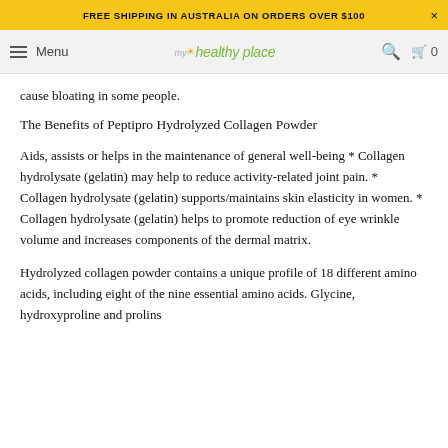FREE SHIPPING IN AUSTRALIA ON ORDERS OVER $100
Menu | my healthy place | Search | Cart 0
cause bloating in some people.
The Benefits of Peptipro Hydrolyzed Collagen Powder
Aids, assists or helps in the maintenance of general well-being * Collagen hydrolysate (gelatin) may help to reduce activity-related joint pain. * Collagen hydrolysate (gelatin) supports/maintains skin elasticity in women. * Collagen hydrolysate (gelatin) helps to promote reduction of eye wrinkle volume and increases components of the dermal matrix.
Hydrolyzed collagen powder contains a unique profile of 18 different amino acids, including eight of the nine essential amino acids. Glycine, hydroxyproline and prolins